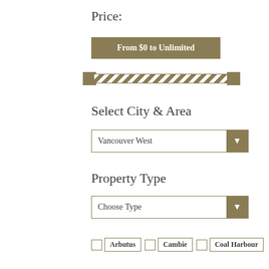Price:
From $0 to Unlimited
[Figure (other): Range slider with hatched track and two square thumb handles]
Select City & Area
Vancouver West
Property Type
Choose Type
Arbutus
Cambie
Coal Harbour